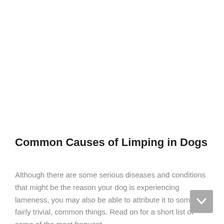Common Causes of Limping in Dogs
Although there are some serious diseases and conditions that might be the reason your dog is experiencing lameness, you may also be able to attribute it to some fairly trivial, common things. Read on for a short list of some of the most frequent causes...